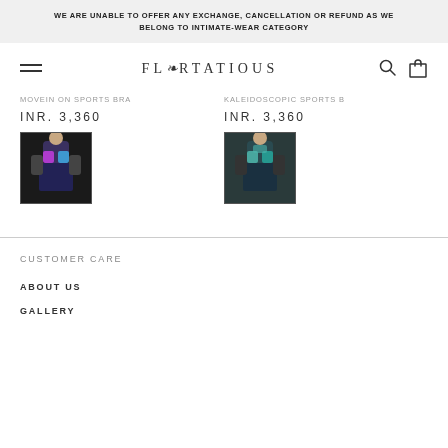WE ARE UNABLE TO OFFER ANY EXCHANGE, CANCELLATION OR REFUND AS WE BELONG TO INTIMATE-WEAR CATEGORY
FLIRTATIOUS
MOVEIN ON SPORTS BRA
INR. 3,360
[Figure (photo): Product thumbnail: woman wearing sports bra, dark background]
KALEIDOSCOPIC SPORTS B
INR. 3,360
[Figure (photo): Product thumbnail: woman wearing teal sports bra, dark background]
CUSTOMER CARE
ABOUT US
GALLERY